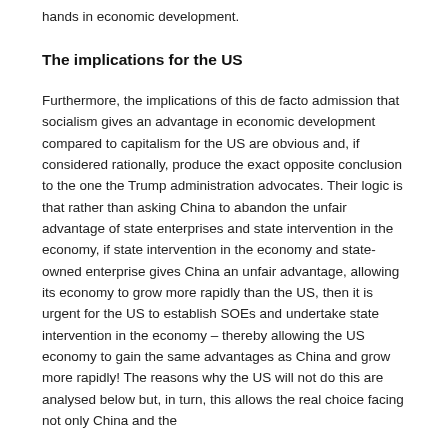hands in economic development.
The implications for the US
Furthermore, the implications of this de facto admission that socialism gives an advantage in economic development compared to capitalism for the US are obvious and, if considered rationally, produce the exact opposite conclusion to the one the Trump administration advocates. Their logic is that rather than asking China to abandon the unfair advantage of state enterprises and state intervention in the economy, if state intervention in the economy and state-owned enterprise gives China an unfair advantage, allowing its economy to grow more rapidly than the US, then it is urgent for the US to establish SOEs and undertake state intervention in the economy – thereby allowing the US economy to gain the same advantages as China and grow more rapidly! The reasons why the US will not do this are analysed below but, in turn, this allows the real choice facing not only China and the